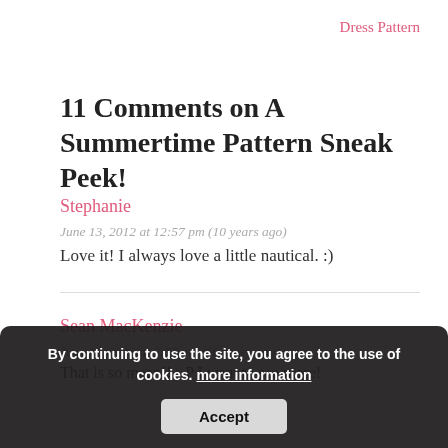Dress Pattern
11 Comments on A Summertime Pattern Sneak Peek!
Stephanie
June 13, 2012 at 12:57 pm (10 years ago)
Love it! I always love a little nautical. :)
Sean MacKenzie
June 13, 2012 at 3:57 pm (10 years ago)
That is so mean!! :-P I want to see more!
Lauren
By continuing to use the site, you agree to the use of cookies. more information
Accept